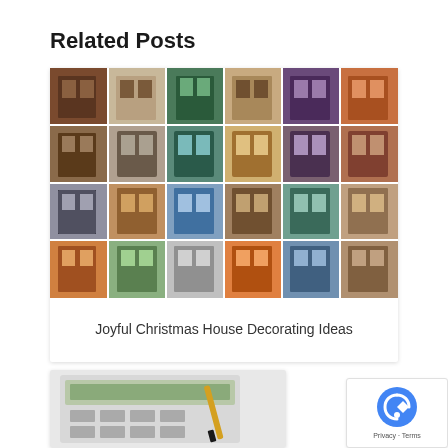Related Posts
[Figure (photo): Grid of colorful building facades with doors and windows in various colors and styles]
Joyful Christmas House Decorating Ideas
[Figure (photo): Calculator and pen on a desk, partially cropped at bottom of page]
[Figure (logo): Google reCAPTCHA badge with Privacy and Terms links]